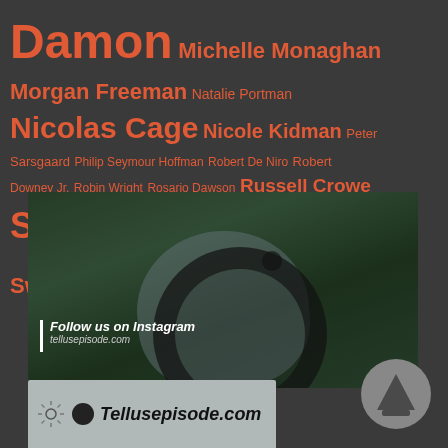Damon Michelle Monaghan Morgan Freeman Natalie Portman Nicolas Cage Nicole Kidman Peter Sarsgaard Philip Seymour Hoffman Robert De Niro Robert Downey Jr. Robin Wright Rosario Dawson Russell Crowe Samuel L. Jackson Tilda Swinton Tom Hanks Will Smith
[Figure (photo): Instagram promotional image showing a woman lying in a boat surrounded by green foliage and water, with a large Instagram logo circle overlay and text 'Follow us on Instagram / tellusepisode.com']
[Figure (screenshot): Partial banner with settings/sun icon, dark circle, and text 'Tellusepisode.com' on a grey background]
[Figure (logo): Grey circular logo with a triangle/arrow pointing upward, resembling an upload or navigation icon]